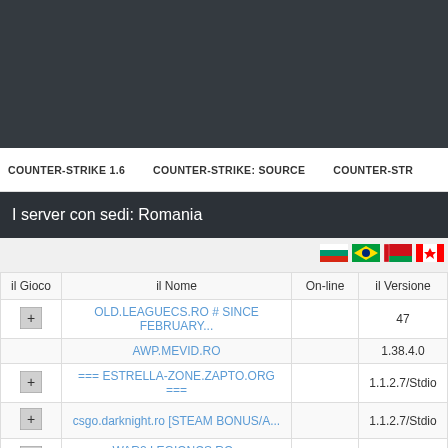[Figure (screenshot): Dark header banner area for a gaming server listing website]
COUNTER-STRIKE 1.6   COUNTER-STRIKE: SOURCE   COUNTER-STR
I server con sedi: Romania
[Figure (illustration): Flag icons row: Bulgaria, Brazil, Belarus, Canada (partially visible)]
| il Gioco | il Nome | On-line | il Versione |
| --- | --- | --- | --- |
| [icon] | OLD.LEAGUECS.RO # SINCE FEBRUARY... |  | 47 |
|  | AWP.MEVID.RO |  | 1.38.4.0 |
| [icon] | === ESTRELLA-ZONE.ZAPTO.ORG === |  | 1.1.2.7/Stdio |
| [icon] | csgo.darknight.ro [STEAM BONUS/A... |  | 1.1.2.7/Stdio |
| [icon] | WAR2.LEGIONCS.RO - TS.LEGIONCS.RO |  | 1.1.2.7/Stdio |
| [icon] | [#1] SUD.LALEAGANE.RO [2022] |  | 1.1.2.7/Stdio |